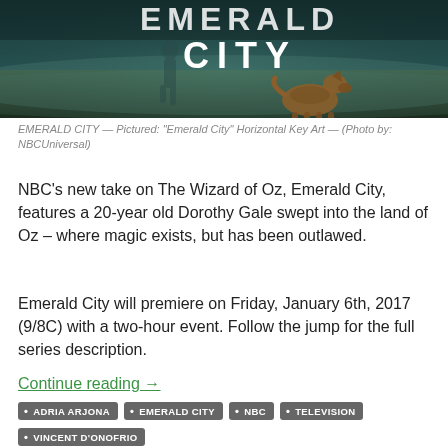[Figure (photo): Promotional image for NBC's Emerald City TV show — dark teal/green toned scene with a dog and a person in the background, text 'EMERALD CITY' in large white letters]
EMERALD CITY — Pictured: "Emerald City" Horizontal Key Art — (Photo by: NBCUniversal)
NBC's new take on The Wizard of Oz, Emerald City, features a 20-year old Dorothy Gale swept into the land of Oz – where magic exists, but has been outlawed.
Emerald City will premiere on Friday, January 6th, 2017 (9/8C) with a two-hour event. Follow the jump for the full series description.
Continue reading →
ADRIA ARJONA
EMERALD CITY
NBC
TELEVISION
VINCENT D'ONOFRIO